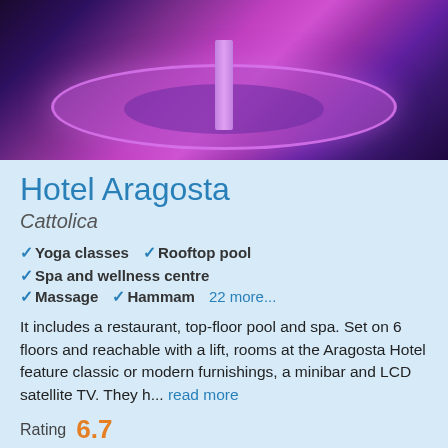[Figure (photo): Hotel rooftop pool lit with purple/magenta lighting at dusk, oval pool shape with central pillar, trees visible in background]
Hotel Aragosta
Cattolica
✓ Yoga classes  ✓ Rooftop pool  ✓ Spa and wellness centre
✓ Massage  ✓ Hammam  22 more...
It includes a restaurant, top-floor pool and spa. Set on 6 floors and reachable with a lift, rooms at the Aragosta Hotel feature classic or modern furnishings, a minibar and LCD satellite TV. They h... read more
Rating  6.7